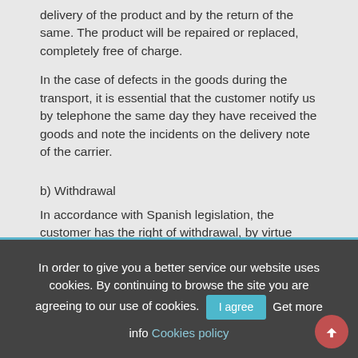delivery of the product and by the return of the same. The product will be repaired or replaced, completely free of charge.
In the case of defects in the goods during the transport, it is essential that the customer notify us by telephone the same day they have received the goods and note the incidents on the delivery note of the carrier.
b) Withdrawal
In accordance with Spanish legislation, the customer has the right of withdrawal, by virtue
In order to give you a better service our website uses cookies. By continuing to browse the site you are agreeing to our use of cookies. I agree Get more info Cookies policy